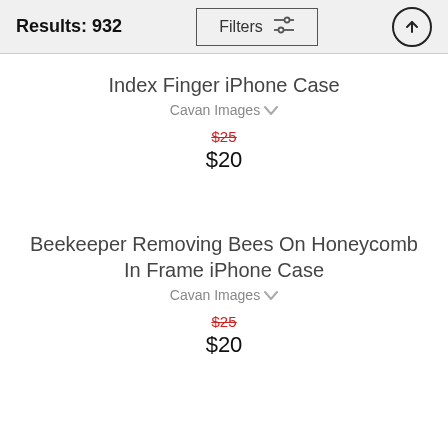Results: 932
Index Finger iPhone Case
Cavan Images
$25  $20
Beekeeper Removing Bees On Honeycomb In Frame iPhone Case
Cavan Images
$25  $20